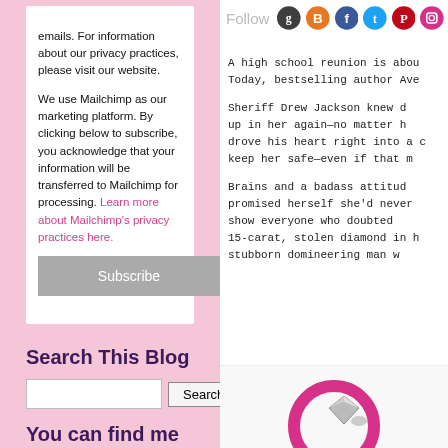emails. For information about our privacy practices, please visit our website.
We use Mailchimp as our marketing platform. By clicking below to subscribe, you acknowledge that your information will be transferred to Mailchimp for processing. Learn more about Mailchimp's privacy practices here.
Subscribe
Search This Blog
You can find me
Follow
A high school reunion is abou Today, bestselling author Ave
Sheriff Drew Jackson knew d up in her again—no matter h drove his heart right into a c keep her safe—even if that m
Brains and a badass attitud promised herself she'd never show everyone who doubted 15-carat, stolen diamond in h stubborn domineering man w
[Figure (illustration): Partial view of a ring or circular jewelry illustration at bottom right]